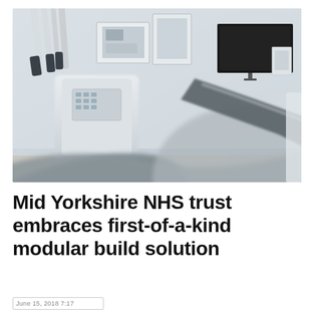[Figure (photo): Close-up photo of a dental surgery room showing dental equipment including handpieces, suction tools, and a dental chair armrest in the foreground (blurred), with dental unit controls, a monitor, and framed images on the wall in the background. The room has a clean, modern, clinical appearance with white and grey tones.]
Mid Yorkshire NHS trust embraces first-of-a-kind modular build solution
June 15, 2018 7:17